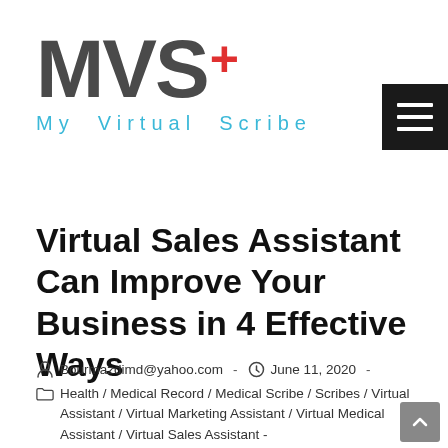[Figure (logo): MVS+ My Virtual Scribe logo with large grey MVS text, red plus sign, and cyan subtitle]
Virtual Sales Assistant Can Improve Your Business in 4 Effective Ways
Bourmazdimd@yahoo.com - June 11, 2020 -
Health / Medical Record / Medical Scribe / Scribes / Virtual Assistant / Virtual Marketing Assistant / Virtual Medical Assistant / Virtual Sales Assistant -